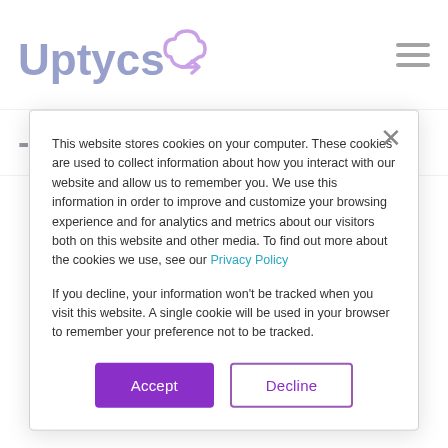Uptycs [logo with cloud icon and hamburger menu]
- Third Party Sources
This website stores cookies on your computer. These cookies are used to collect information about how you interact with our website and allow us to remember you. We use this information in order to improve and customize your browsing experience and for analytics and metrics about our visitors both on this website and other media. To find out more about the cookies we use, see our Privacy Policy
If you decline, your information won't be tracked when you visit this website. A single cookie will be used in your browser to remember your preference not to be tracked.
Accept  Decline